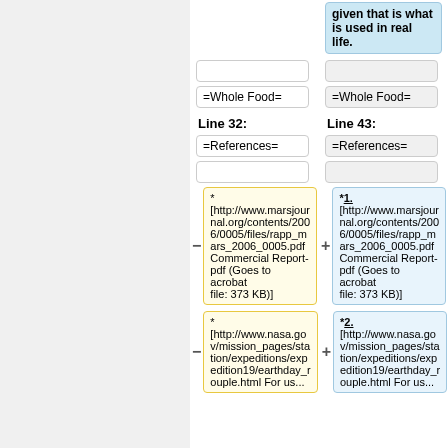given that is what is used in real life.
=Whole Food=
=Whole Food=
Line 32:
Line 43:
=References=
=References=
* [http://www.marsjournal.org/contents/2006/0005/files/rapp_mars_2006_0005.pdf Commercial Report-pdf (Goes to acrobat file: 373 KB)]
*1. [http://www.marsjournal.org/contents/2006/0005/files/rapp_mars_2006_0005.pdf Commercial Report-pdf (Goes to acrobat file: 373 KB)]
* [http://www.nasa.gov/mission_pages/station/expeditions/expedition19/earthday_rouple.html For us...
*2. [http://www.nasa.gov/mission_pages/station/expeditions/expedition19/earthday_rouple.html For us...